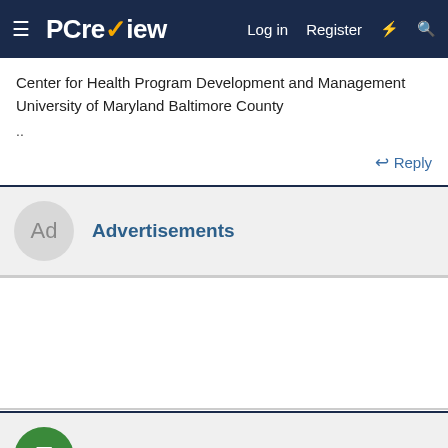PC review — Log in | Register
Center for Health Program Development and Management University of Maryland Baltimore County
..
↩ Reply
Advertisements
[Figure (other): Empty advertisement content area]
EMILYTAN via AccessMonster.com